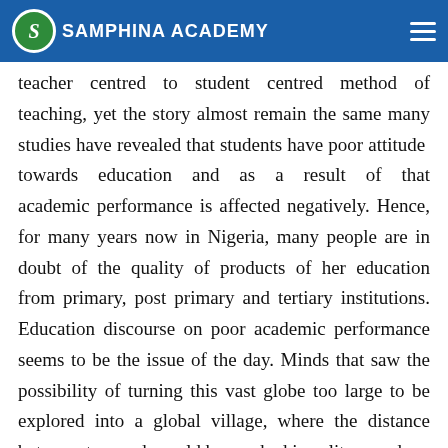SAMPHINA ACADEMY
the teaching process seems to move from teacher centred to student centred method of teaching, yet the story almost remain the same many studies have revealed that students have poor attitude towards education and as a result of that academic performance is affected negatively. Hence, for many years now in Nigeria, many people are in doubt of the quality of products of her education from primary, post primary and tertiary institutions. Education discourse on poor academic performance seems to be the issue of the day. Minds that saw the possibility of turning this vast globe too large to be explored into a global village, where the distance between two ends could be reached in split seconds.